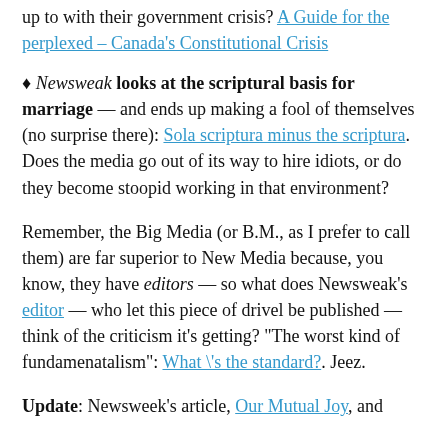up to with their government crisis? A Guide for the perplexed – Canada's Constitutional Crisis
♦ Newsweak looks at the scriptural basis for marriage — and ends up making a fool of themselves (no surprise there): Sola scriptura minus the scriptura. Does the media go out of its way to hire idiots, or do they become stoopid working in that environment?
Remember, the Big Media (or B.M., as I prefer to call them) are far superior to New Media because, you know, they have editors — so what does Newsweak's editor — who let this piece of drivel be published — think of the criticism it's getting? "The worst kind of fundamenatalism": What \'s the standard?. Jeez.
Update: Newsweek's article, Our Mutual Joy, and